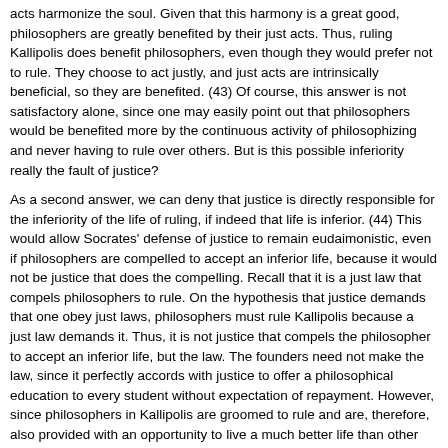acts harmonize the soul. Given that this harmony is a great good, philosophers are greatly benefited by their just acts. Thus, ruling Kallipolis does benefit philosophers, even though they would prefer not to rule. They choose to act justly, and just acts are intrinsically beneficial, so they are benefited. (43) Of course, this answer is not satisfactory alone, since one may easily point out that philosophers would be benefited more by the continuous activity of philosophizing and never having to rule over others. But is this possible inferiority really the fault of justice?
As a second answer, we can deny that justice is directly responsible for the inferiority of the life of ruling, if indeed that life is inferior. (44) This would allow Socrates' defense of justice to remain eudaimonistic, even if philosophers are compelled to accept an inferior life, because it would not be justice that does the compelling. Recall that it is a just law that compels philosophers to rule. On the hypothesis that justice demands that one obey just laws, philosophers must rule Kallipolis because a just law demands it. Thus, it is not justice that compels the philosopher to accept an inferior life, but the law. The founders need not make the law, since it perfectly accords with justice to offer a philosophical education to every student without expectation of repayment. However, since philosophers in Kallipolis are groomed to rule and are, therefore, also provided with an opportunity to live a much better life than other citizens (i.e., the life of philosophy), it is just for the city to demand that they give up some portion of their life on the Isle of the Blessed to rule. Hence, the law is just, but it is not required by justice. (45)
Let us discuss this important point in more detail. I have distinguished a general requirement of justice from the specific requirement of the just law in Kallipolis. If we accept that it is a general requirement of justice that philosophers rule the city, then 1) they would be reluctant to do what